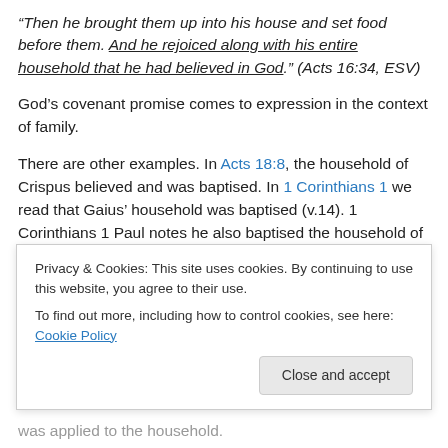“Then he brought them up into his house and set food before them. And he rejoiced along with his entire household that he had believed in God.” (Acts 16:34, ESV)
God’s covenant promise comes to expression in the context of family.
There are other examples. In Acts 18:8, the household of Crispus believed and was baptised. In 1 Corinthians 1 we read that Gaius’ household was baptised (v.14). 1 Corinthians 1 Paul notes he also baptised the household of Stephanus (v.16). In all, five households are baptised
Privacy & Cookies: This site uses cookies. By continuing to use this website, you agree to their use.
To find out more, including how to control cookies, see here: Cookie Policy
Close and accept
was applied to the household.